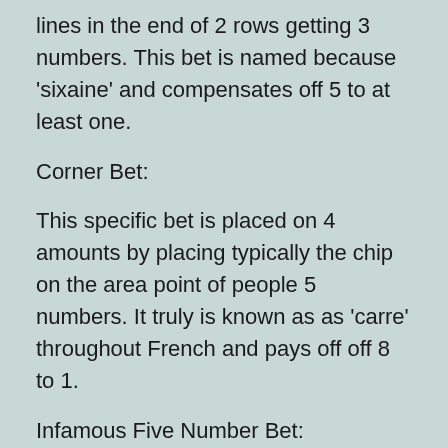lines in the end of 2 rows getting 3 numbers. This bet is named because 'sixaine' and compensates off 5 to at least one.
Corner Bet:
This specific bet is placed on 4 amounts by placing typically the chip on the area point of people 5 numbers. It truly is known as as 'carre' throughout French and pays off off 8 to 1.
Infamous Five Number Bet: